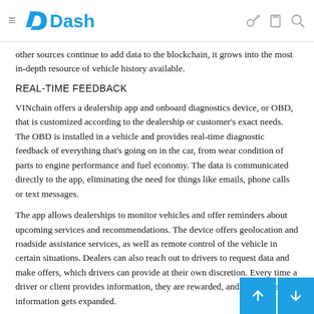Dash
other sources continue to add data to the blockchain, it grows into the most in-depth resource of vehicle history available.
REAL-TIME FEEDBACK
VINchain offers a dealership app and onboard diagnostics device, or OBD, that is customized according to the dealership or customer's exact needs. The OBD is installed in a vehicle and provides real-time diagnostic feedback of everything that's going on in the car, from wear condition of parts to engine performance and fuel economy. The data is communicated directly to the app, eliminating the need for things like emails, phone calls or text messages.
The app allows dealerships to monitor vehicles and offer reminders about upcoming services and recommendations. The device offers geolocation and roadside assistance services, as well as remote control of the vehicle in certain situations. Dealers can also reach out to drivers to request data and make offers, which drivers can provide at their own discretion. Every time a driver or client provides information, they are rewarded, and the database of information gets expanded.